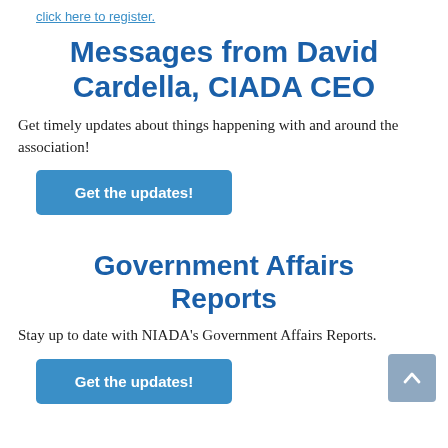click here to register.
Messages from David Cardella, CIADA CEO
Get timely updates about things happening with and around the association!
Get the updates!
Government Affairs Reports
Stay up to date with NIADA's Government Affairs Reports.
Get the updates!